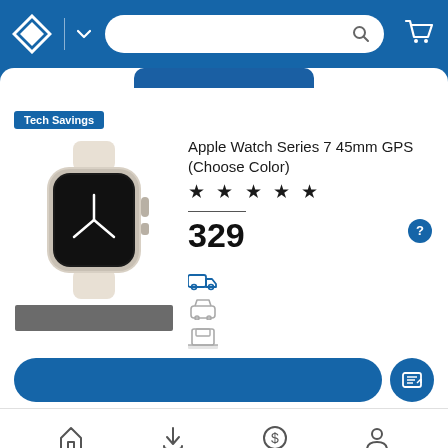[Figure (screenshot): Sam's Club app header with logo, search bar, and cart icon on blue background]
Tech Savings
[Figure (photo): Apple Watch Series 7 45mm in starlight color with sport band, black watch face showing clock]
Apple Watch Series 7 45mm GPS (Choose Color)
★ ★ ★ ★ ★
329
[Figure (infographic): Delivery and pickup option icons: truck (shipping), car (curbside), store (in-store)]
[Figure (infographic): Add to cart button and list button at bottom of product page]
[Figure (infographic): Bottom navigation bar with home, downloads, dollar/wallet, and account icons]